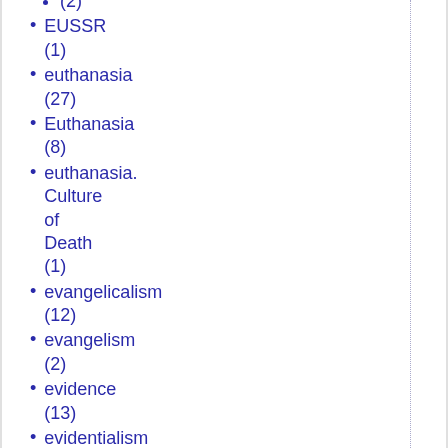(2)
EUSSR (1)
euthanasia (27)
Euthanasia (8)
euthanasia. Culture of Death (1)
evangelicalism (12)
evangelism (2)
evidence (13)
evidentialism (39)
evil (3)
evolution (7)
Exceptionalism